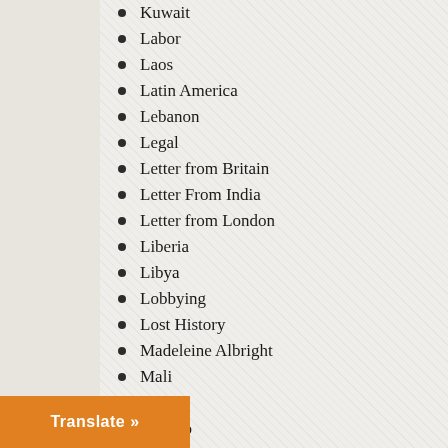Kuwait
Labor
Laos
Latin America
Lebanon
Legal
Letter from Britain
Letter From India
Letter from London
Liberia
Libya
Lobbying
Lost History
Madeleine Albright
Mali
Media
Mexico
Middle East
Middle East
Mike Pompeo